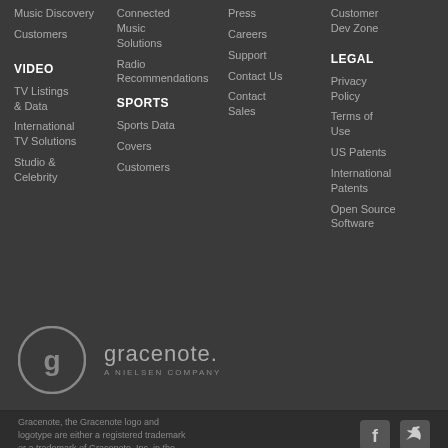Music Discovery
Customers
VIDEO
TV Listings & Data
International TV Solutions
Studio & Celebrity
Connected Music Solutions
Radio Recommendations
SPORTS
Sports Data
Covers
Customers
Press
Careers
Support
Contact Us
Contact Sales
Customer Dev Zone
LEGAL
Privacy Policy
Terms of Use
US Patents
International Patents
Open Source Software
[Figure (logo): Gracenote logo — circular G icon with gracenote. A NIELSEN COMPANY text]
Gracenote, the Gracenote logo and logotype are either a registered trademark or a trademark of Gracenote, Inc. in the United States and/or other countries. © 2000–